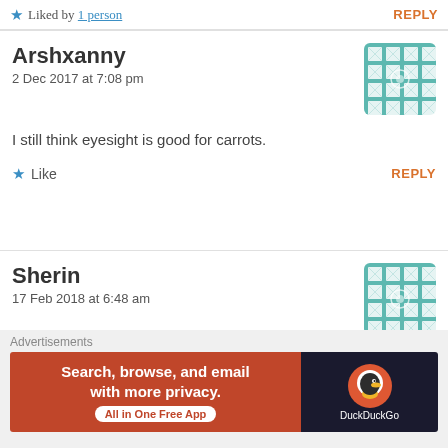★ Liked by 1 person   REPLY
Arshxanny
2 Dec 2017 at 7:08 pm

I still think eyesight is good for carrots.

★ Like   REPLY
Sherin
17 Feb 2018 at 6:48 am

Bro I'm really proud okay.Keep on going and thanks a lot for advice :))

★ Like   REPLY
Advertisements
Search, browse, and email with more privacy. All in One Free App   DuckDuckGo